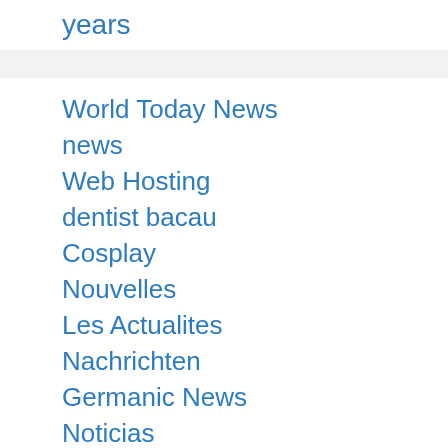years
World Today News
news
Web Hosting
dentist bacau
Cosplay
Nouvelles
Les Actualites
Nachrichten
Germanic News
Noticias